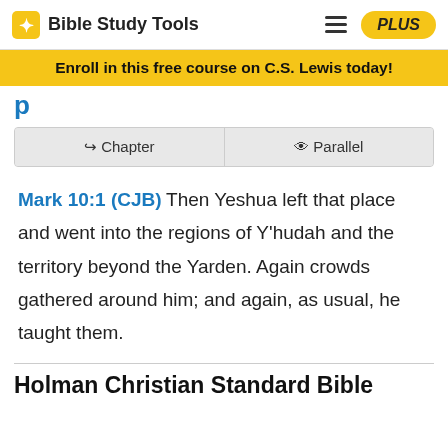Bible Study Tools
Enroll in this free course on C.S. Lewis today!
Chapter | Parallel
Mark 10:1 (CJB) Then Yeshua left that place and went into the regions of Y'hudah and the territory beyond the Yarden. Again crowds gathered around him; and again, as usual, he taught them.
Holman Christian Standard Bible